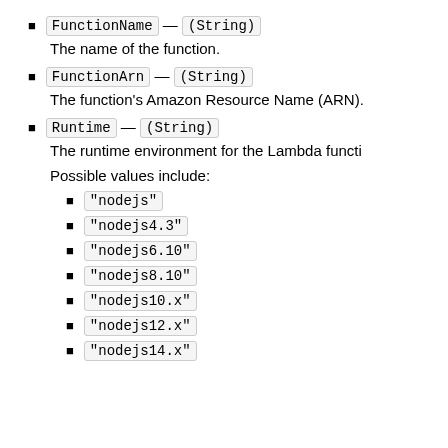FunctionName — (String)
The name of the function.
FunctionArn — (String)
The function's Amazon Resource Name (ARN).
Runtime — (String)
The runtime environment for the Lambda functi
Possible values include:
"nodejs"
"nodejs4.3"
"nodejs6.10"
"nodejs8.10"
"nodejs10.x"
"nodejs12.x"
"nodejs14.x"